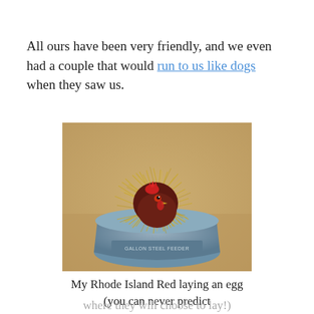All ours have been very friendly, and we even had a couple that would run to us like dogs when they saw us.
[Figure (photo): A Rhode Island Red chicken sitting in a metal feeder/bucket filled with hay or straw, laying an egg. The bucket has text that appears to read 'GALLON STEEL FEEDER' on its side.]
My Rhode Island Red laying an egg (you can never predict where they will choose to lay!)